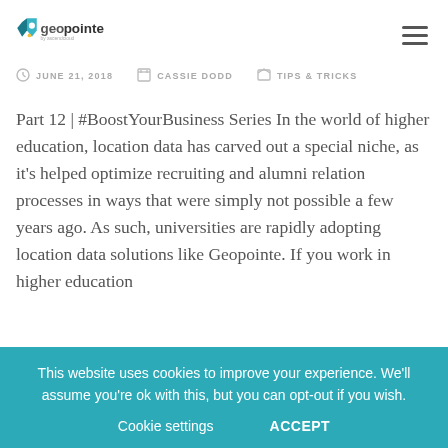[Figure (logo): Geopointe logo by Ascendcloud]
JUNE 21, 2018  CASSIE DODD  TIPS & TRICKS
Part 12 | #BoostYourBusiness Series In the world of higher education, location data has carved out a special niche, as it's helped optimize recruiting and alumni relation processes in ways that were simply not possible a few years ago. As such, universities are rapidly adopting location data solutions like Geopointe. If you work in higher education...
This website uses cookies to improve your experience. We'll assume you're ok with this, but you can opt-out if you wish.
Cookie settings   ACCEPT